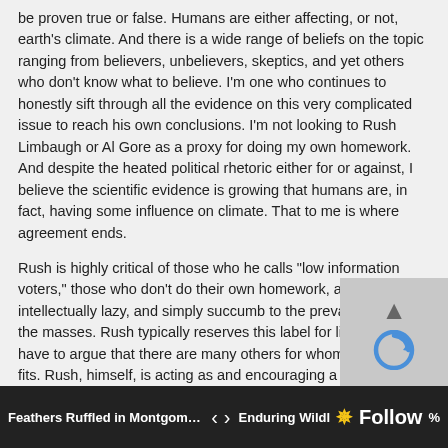be proven true or false. Humans are either affecting, or not, earth's climate. And there is a wide range of beliefs on the topic ranging from believers, unbelievers, skeptics, and yet others who don't know what to believe. I'm one who continues to honestly sift through all the evidence on this very complicated issue to reach his own conclusions. I'm not looking to Rush Limbaugh or Al Gore as a proxy for doing my own homework. And despite the heated political rhetoric either for or against, I believe the scientific evidence is growing that humans are, in fact, having some influence on climate. That to me is where agreement ends.
Rush is highly critical of those who he calls "low information voters," those who don't do their own homework, are intellectually lazy, and simply succumb to the prevailing views of the masses. Rush typically reserves this label for liberals, but I'd have to argue that there are many others for whom the shoe fits. Rush, himself, is acting as and encouraging a new cohort of low information voters on this topic.
Based on my own independent thinking and review of the evidentiary record, the jury is still out on the sensitivity of to GHGs and the implications to earth's ecosystems and nat resources. The scientific and policy debate rightly belong latter space, which is where prominent scientific skept
Feathers Ruffled in Montgomery...   < >   Enduring Wildl  * Follow  %